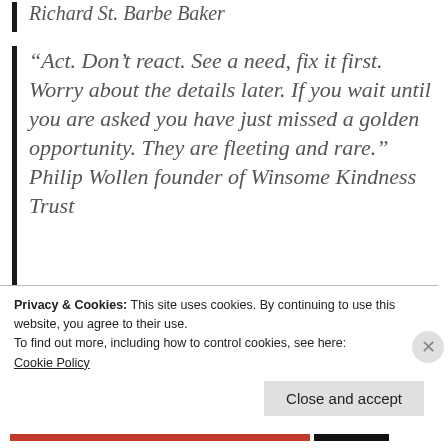Richard St. Barbe Baker
“Act. Don’t react. See a need, fix it first. Worry about the details later. If you wait until you are asked you have just missed a golden opportunity. They are fleeting and rare.” Philip Wollen founder of Winsome Kindness Trust
“How many lessons of faith and beauty we should lose, if there were no winter
Privacy & Cookies: This site uses cookies. By continuing to use this website, you agree to their use.
To find out more, including how to control cookies, see here:
Cookie Policy
Close and accept